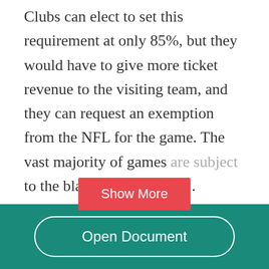Clubs can elect to set this requirement at only 85%, but they would have to give more ticket revenue to the visiting team, and they can request an exemption from the NFL for the game. The vast majority of games [Show More] to the blackout rule, with...
Related